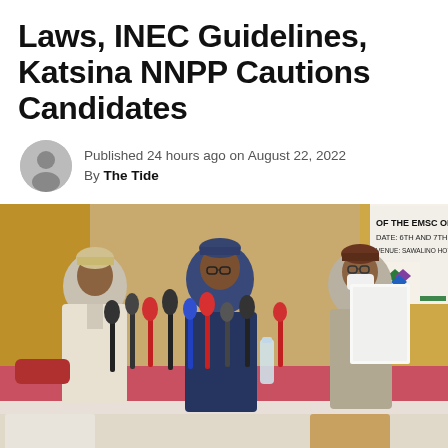Laws, INEC Guidelines, Katsina NNPP Cautions Candidates
Published 24 hours ago on August 22, 2022
By The Tide
[Figure (photo): Three men seated at a table with many microphones at a press conference. A banner in the background reads: 'OF THE EMSC OPERATION — DATE: 6TH AND 7TH AUGUST — VENUE: SAWALINO HOTEL AND SUITES KEFFI – NA'. The man on the left wears traditional white attire and a patterned cap. The man in the center wears a dark blue kaftan and glasses. The man on the right wears a white face mask, patterned cap, and glasses, and holds up a white document.]